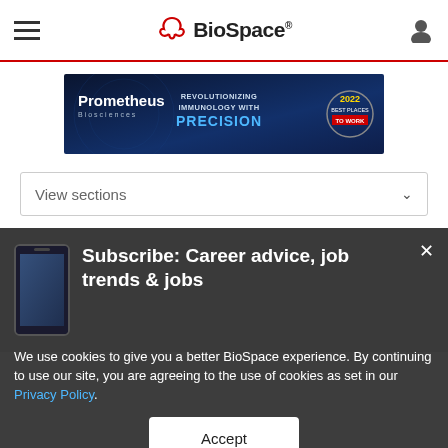BioSpace
[Figure (other): Prometheus Biosciences advertisement banner: 'Revolutionizing Immunology with Precision', 2022 Best Places to Work badge]
View sections
Subscribe: Career advice, job trends & jobs
We use cookies to give you a better BioSpace experience. By continuing to use our site, you are agreeing to the use of cookies as set in our Privacy Policy.
Accept